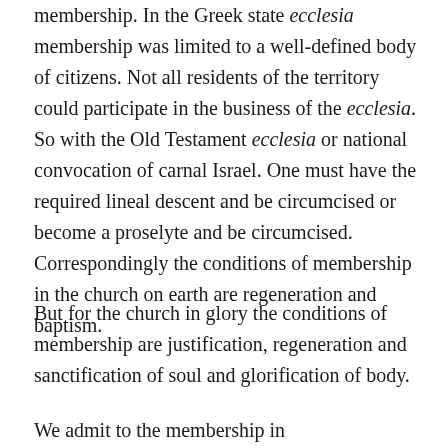membership. In the Greek state ecclesia membership was limited to a well-defined body of citizens. Not all residents of the territory could participate in the business of the ecclesia. So with the Old Testament ecclesia or national convocation of carnal Israel. One must have the required lineal descent and be circumcised or become a proselyte and be circumcised. Correspondingly the conditions of membership in the church on earth are regeneration and baptism.
But for the church in glory the conditions of membership are justification, regeneration and sanctification of soul and glorification of body.
We admit to the membership in...